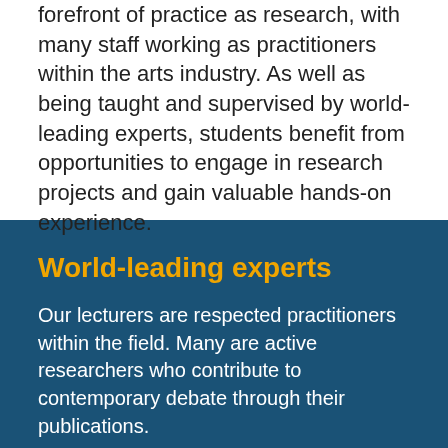forefront of practice as research, with many staff working as practitioners within the arts industry. As well as being taught and supervised by world-leading experts, students benefit from opportunities to engage in research projects and gain valuable hands-on experience.
World-leading experts
Our lecturers are respected practitioners within the field. Many are active researchers who contribute to contemporary debate through their publications.